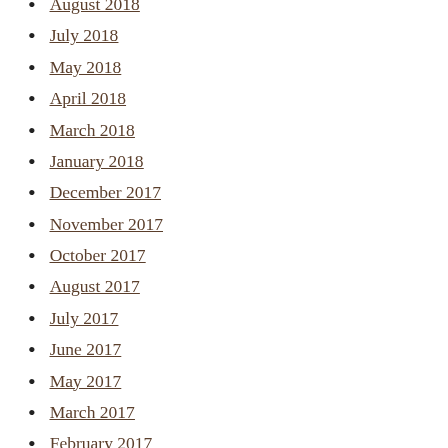August 2018
July 2018
May 2018
April 2018
March 2018
January 2018
December 2017
November 2017
October 2017
August 2017
July 2017
June 2017
May 2017
March 2017
February 2017
January 2017
December 2016
October 2016